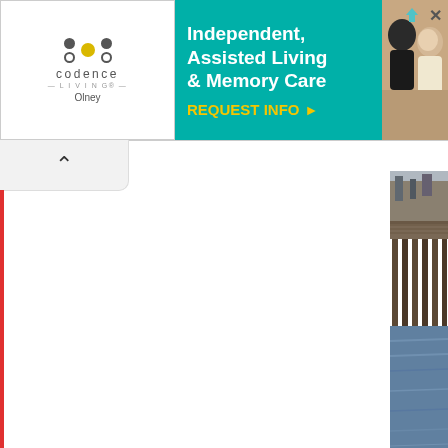[Figure (other): Advertisement banner for Codence Living Olney — Independent, Assisted Living & Memory Care with REQUEST INFO call to action button, logo with dots, and photo of people]
[Figure (photo): Photograph of a pier/dock over water, viewed from water level showing wooden pilings]
We went back towards Miner's Landing to admire the Great Wheel, whic… Summer with Sara! I also let her watch the Carousel, which I think she w…
[Figure (photo): Photograph of the Seattle Great Wheel (Ferris wheel) against a cloudy sky, with a brick building in the lower corner]